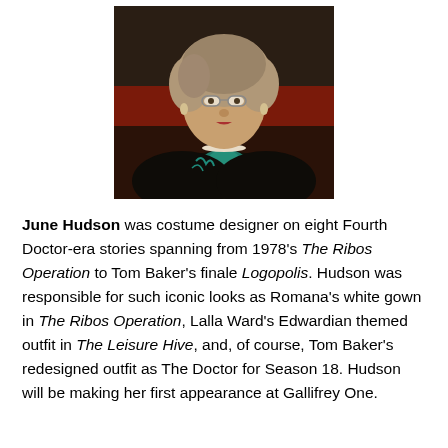[Figure (photo): Portrait photograph of June Hudson, an elderly woman with curly grey hair and glasses, wearing a dark jacket with teal/turquoise embellishments and a pearl necklace, seated in front of a reddish background.]
June Hudson was costume designer on eight Fourth Doctor-era stories spanning from 1978's The Ribos Operation to Tom Baker's finale Logopolis. Hudson was responsible for such iconic looks as Romana's white gown in The Ribos Operation, Lalla Ward's Edwardian themed outfit in The Leisure Hive, and, of course, Tom Baker's redesigned outfit as The Doctor for Season 18. Hudson will be making her first appearance at Gallifrey One.